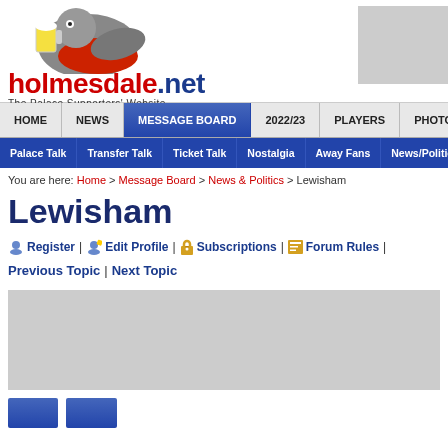[Figure (logo): Holmesdale.net logo with cartoon eagle holding beer mug and text 'holmesdale.net The Palace Supporters Website']
HOME | NEWS | MESSAGE BOARD | 2022/23 | PLAYERS | PHOTOS
Palace Talk | Transfer Talk | Ticket Talk | Nostalgia | Away Fans | News/Politics
You are here: Home > Message Board > News & Politics > Lewisham
Lewisham
Register | Edit Profile | Subscriptions | Forum Rules |
Previous Topic | Next Topic
[Figure (other): Advertisement placeholder (grey rectangle)]
[Figure (other): Bottom navigation buttons placeholder]